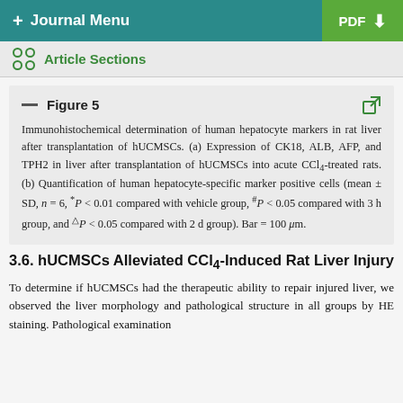+ Journal Menu   PDF
Article Sections
Figure 5 — Immunohistochemical determination of human hepatocyte markers in rat liver after transplantation of hUCMSCs. (a) Expression of CK18, ALB, AFP, and TPH2 in liver after transplantation of hUCMSCs into acute CCl4-treated rats. (b) Quantification of human hepatocyte-specific marker positive cells (mean ± SD, n = 6, *P < 0.01 compared with vehicle group, #P < 0.05 compared with 3 h group, and △P < 0.05 compared with 2 d group). Bar = 100 μm.
3.6. hUCMSCs Alleviated CCl4-Induced Rat Liver Injury
To determine if hUCMSCs had the therapeutic ability to repair injured liver, we observed the liver morphology and pathological structure in all groups by HE staining. Pathological examination